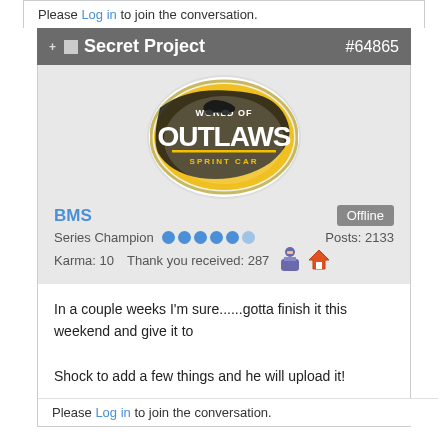Please Log in to join the conversation.
Secret Project  #64865
[Figure (logo): World of Outlaws Sprint Car Series logo — oval shape with yellow background, black text 'OUTLAWS', race car silhouette]
BMS  Offline
Series Champion   Posts: 2133
Karma: 10   Thank you received: 287
In a couple weeks I'm sure......gotta finish it this weekend and give it to Shock to add a few things and he will upload it!
Please Log in to join the conversation.